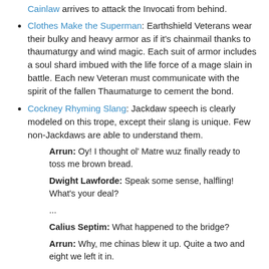Cainlaw arrives to attack the Invocati from behind.
Clothes Make the Superman: Earthshield Veterans wear their bulky and heavy armor as if it's chainmail thanks to thaumaturgy and wind magic. Each suit of armor includes a soul shard imbued with the life force of a mage slain in battle. Each new Veteran must communicate with the spirit of the fallen Thaumaturge to cement the bond.
Cockney Rhyming Slang: Jackdaw speech is clearly modeled on this trope, except their slang is unique. Few non-Jackdaws are able to understand them.
Arrun: Oy! I thought ol' Matre wuz finally ready to toss me brown bread.
Dwight Lawforde: Speak some sense, halfling! What's your deal?
...
Calius Septim: What happened to the bridge?
Arrun: Why, me chinas blew it up. Quite a two and eight we left it in.